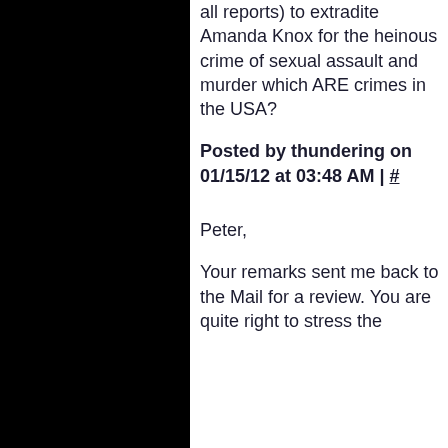all reports) to extradite Amanda Knox for the heinous crime of sexual assault and murder which ARE crimes in the USA?
Posted by thundering on 01/15/12 at 03:48 AM | #
Peter,
Your remarks sent me back to the Mail for a review. You are quite right to stress the